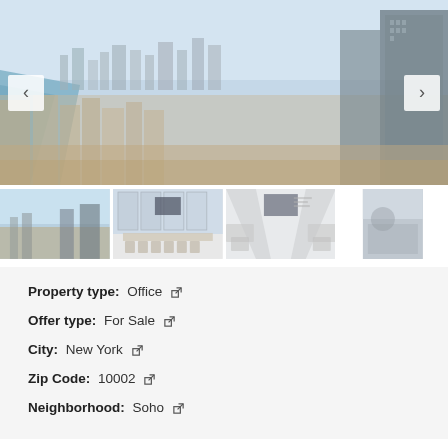[Figure (photo): Aerial cityscape photo showing a dense urban skyline with skyscrapers, river and city sprawl, used as main property listing image with left/right navigation arrows]
[Figure (photo): Thumbnail 1: Aerial city view from high floor]
[Figure (photo): Thumbnail 2: Office conference room with chairs and windows]
[Figure (photo): Thumbnail 3: Bright interior hallway or corridor with chairs]
[Figure (photo): Thumbnail 4: Partial view, partially visible]
Property type: Office
Offer type: For Sale
City: New York
Zip Code: 10002
Neighborhood: Soho